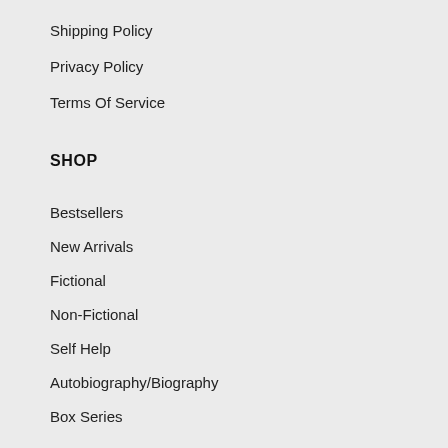Shipping Policy
Privacy Policy
Terms Of Service
SHOP
Bestsellers
New Arrivals
Fictional
Non-Fictional
Self Help
Autobiography/Biography
Box Series
Combos
Startup